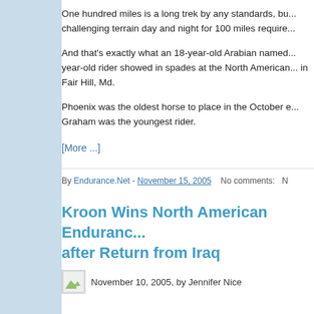One hundred miles is a long trek by any standards, bu... challenging terrain day and night for 100 miles require...
And that's exactly what an 18-year-old Arabian named... year-old rider showed in spades at the North American... in Fair Hill, Md.
Phoenix was the oldest horse to place in the October e... Graham was the youngest rider.
[More ...]
By Endurance.Net - November 15, 2005   No comments:
Kroon Wins North American Endurance after Return from Iraq
November 10, 2005, by Jennifer Nice